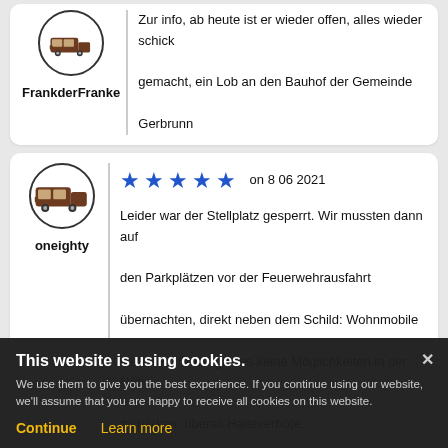FrankderFranke
Zur info, ab heute ist er wieder offen, alles wieder schick gemacht, ein Lob an den Bauhof der Gemeinde Gerbrunn
oneighty
[Figure (other): Five blue filled stars rating icon followed by 'on 8 06 2021']
Leider war der Stellplatz gesperrt. Wir mussten dann auf den Parkplätzen vor der Feuerwehrausfahrt übernachten, direkt neben dem Schild: Wohnmobile verboten. Sonst gibt es keine Möglichkeiten in der Nähe zu parken, überall Halteverbote.
rolandmuentereifu
This website is using cookies. We use them to give you the best experience. If you continue using our website, we'll assume that you are happy to receive all cookies on this website.
Continue
Learn more